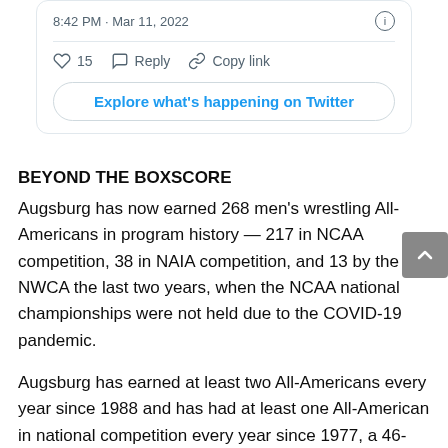8:42 PM · Mar 11, 2022
15   Reply   Copy link
Explore what's happening on Twitter
BEYOND THE BOXSCORE
Augsburg has now earned 268 men's wrestling All-Americans in program history — 217 in NCAA competition, 38 in NAIA competition, and 13 by the NWCA the last two years, when the NCAA national championships were not held due to the COVID-19 pandemic.
Augsburg has earned at least two All-Americans every year since 1988 and has had at least one All-American in national competition every year since 1977, a 46-year streak.
Saturday, March 12 (all times Central):